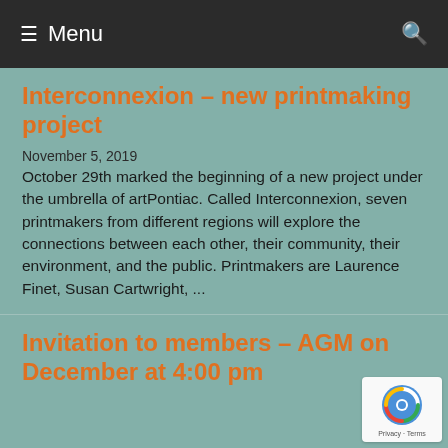≡ Menu
Interconnexion – new printmaking project
November 5, 2019
October 29th marked the beginning of a new project under the umbrella of artPontiac. Called Interconnexion, seven printmakers from different regions will explore the connections between each other, their community, their environment, and the public. Printmakers are Laurence Finet, Susan Cartwright, ...
Invitation to members – AGM on December at 4:00 pm